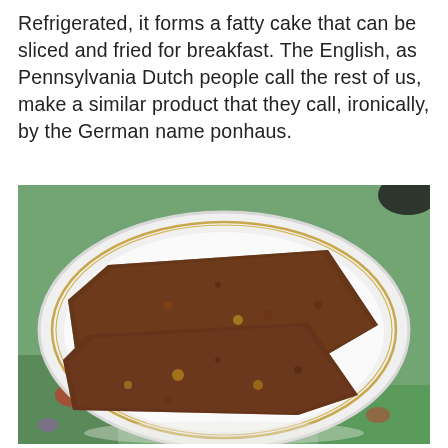Refrigerated, it forms a fatty cake that can be sliced and fried for breakfast. The English, as Pennsylvania Dutch people call the rest of us, make a similar product that they call, ironically, by the German name ponhaus.
[Figure (photo): A white plate with a gold rim sitting on a floral patterned tablecloth/placemat, with two slices of fried scrapple (ponhaus) — dark brown, crispy, roughly rectangular patties — placed on the plate.]